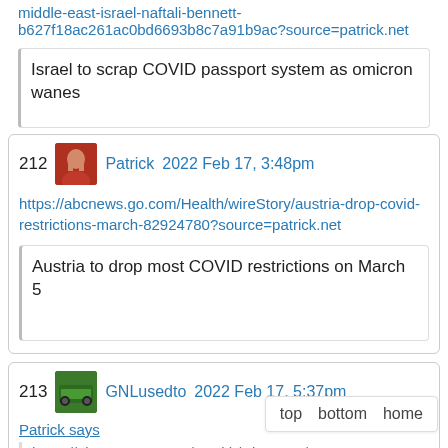middle-east-israel-naftali-bennett-b627f18ac261ac0bd6693b8c7a91b9ac?source=patrick.net
[Figure (other): Link preview box showing article title: Israel to scrap COVID passport system as omicron wanes]
212  Patrick  2022 Feb 17, 3:48pm
https://abcnews.go.com/Health/wireStory/austria-drop-covid-restrictions-march-82924780?source=patrick.net
[Figure (other): Link preview box showing article title: Austria to drop most COVID restrictions on March 5]
213  GNLusedto  2022 Feb 17, 5:37pm
Patrick says
https://abcnews.go.com/Health/wireStory/a...
top   bottom   home